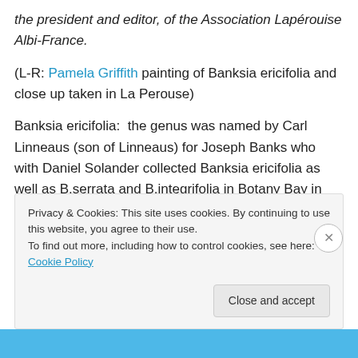the president and editor, of the Association Lapérouise Albi-France.
(L-R: Pamela Griffith painting of Banksia ericifolia and close up taken in La Perouse)
Banksia ericifolia:  the genus was named by Carl Linneaus (son of Linneaus) for Joseph Banks who with Daniel Solander collected Banksia ericifolia as well as B.serrata and B.integrifolia in Botany Bay in 1770.
Privacy & Cookies: This site uses cookies. By continuing to use this website, you agree to their use.
To find out more, including how to control cookies, see here: Cookie Policy